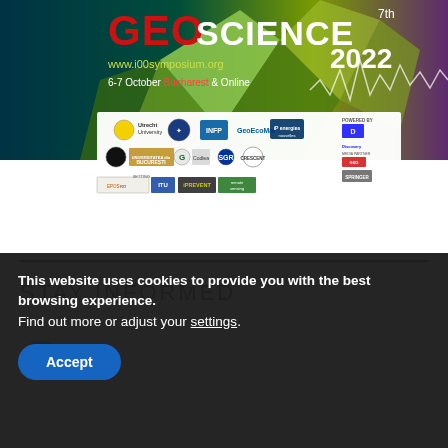[Figure (illustration): GeoScience 2022 symposium banner with logos of sponsoring institutions including Utrecht University, INFP, GeoEcoMar, IFP Energies Nouvelles, Universitatea din Bucuresti, SGR, CRESCENT, Discovery, EPOS, ITU, iPrevent, Remote Sensing. URL www.i00symposium.org, dates 6-7 October, Bucharest & Online.]
STAY INFORMED
[Figure (logo): LinkedIn icon inside a light grey circle]
This website uses cookies to provide you with the best browsing experience.
Find out more or adjust your settings.
Accept